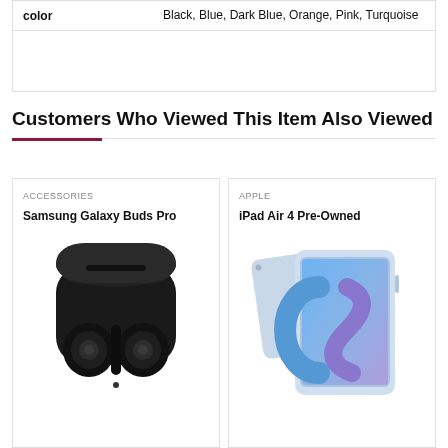|  |  |
| --- | --- |
| color | Black, Blue, Dark Blue, Orange, Pink, Turquoise |
Customers Who Viewed This Item Also Viewed
[Figure (photo): Samsung Galaxy Buds Pro earbuds in black charging case, open lid]
[Figure (photo): iPad Air 4 in sky blue color, shown with front and back view]